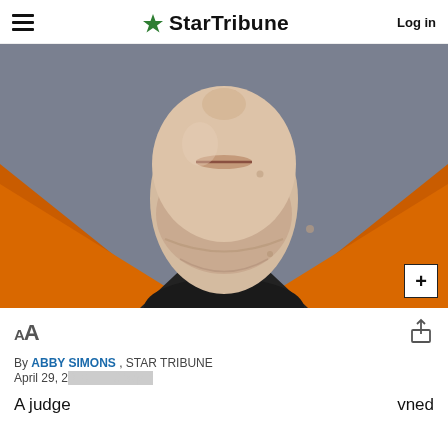StarTribune | Log in
[Figure (photo): Close-up mugshot photo of a person wearing an orange prison jumpsuit over a black turtleneck, cropped at the chin/neck area, gray background.]
AA  [share icon]
By ABBY SIMONS , STAR TRIBUNE
April 29, 2...
A judge   vned